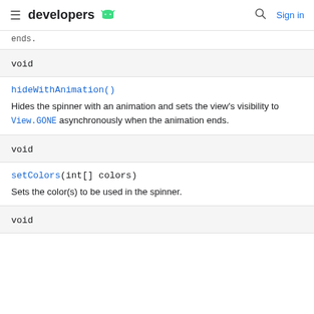developers [android logo]  [search]  Sign in
ends.
void
hideWithAnimation()
Hides the spinner with an animation and sets the view's visibility to View.GONE asynchronously when the animation ends.
void
setColors(int[] colors)
Sets the color(s) to be used in the spinner.
void